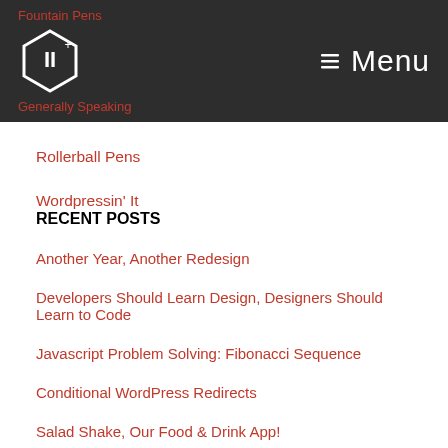Fountain Pens | Generally Speaking | Menu
Rollerball Pens
Wordpressin' It
RECENT POSTS
Another Year, Another Redesign
Developers Should Learn Design, Designers Should Learn to Code
Javascript Problem Solving: Fibonacci Sequence
Conditional WordPress Redirects
Salad Shake, Our Food & Drink App!